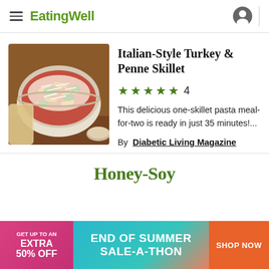EatingWell
[Figure (photo): Bowl of Italian-style turkey and penne pasta with green vegetables and shredded Parmesan cheese on top]
Italian-Style Turkey & Penne Skillet
★★★★★ 4
This delicious one-skillet pasta meal-for-two is ready in just 35 minutes!...
By Diabetic Living Magazine
Honey-Soy
[Figure (screenshot): Advertisement banner: GET UP TO AN EXTRA 50% OFF | END OF SUMMER SALE-A-THON | SHOP NOW]